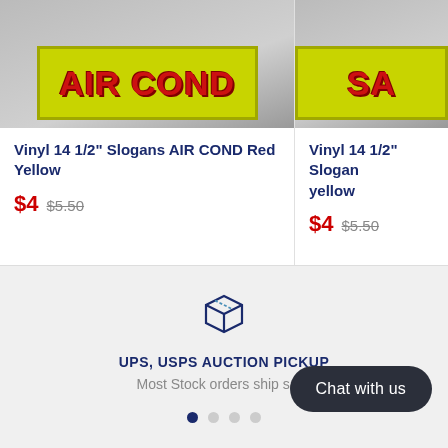[Figure (photo): Product image: Vinyl sign with 'AIR COND' text on yellow-green background]
Vinyl 14 1/2" Slogans AIR COND Red Yellow
$4  $5.50
[Figure (photo): Product image: Vinyl sign with 'SA' text on yellow-green background (partially visible)]
Vinyl 14 1/2" Slogan yellow
$4  $5.50
[Figure (illustration): Box/package icon outline in dark blue]
UPS, USPS AUCTION PICKUP
Most Stock orders ship sa...
Chat with us